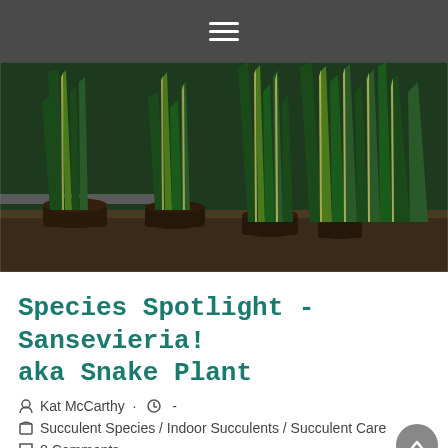≡ (hamburger menu icon)
[Figure (photo): Multiple potted Sansevieria (snake plants) with tall dark green and yellow-edged leaves arranged on a shelving unit in a greenhouse or nursery setting.]
Species Spotlight - Sansevieria! aka Snake Plant
Kat McCarthy · · -
Succulent Species / Indoor Succulents / Succulent Care
8 Comments